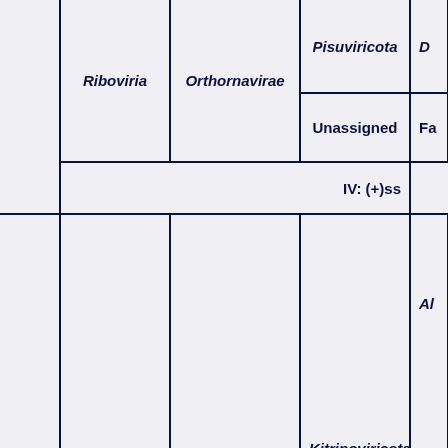[Figure (table-as-image): Partial taxonomic classification table showing viral taxonomy. Columns include realm (Riboviria), kingdom (Orthornavirae), phylum (Pisuviricota, Unassigned, Kitrinoviricota), and partial columns for class. A row label shows 'IV: (+)ss'. The table is cropped on the right side.]